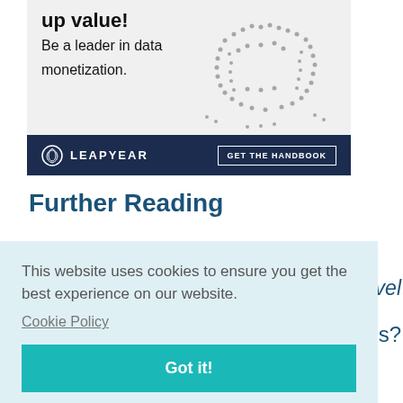[Figure (illustration): Advertisement banner for Leapyear showing crowd forming a dollar sign symbol with text 'up value! Be a leader in data monetization.' and a dark navy bottom bar with Leapyear logo and 'GET THE HANDBOOK' button.]
Further Reading
This website uses cookies to ensure you get the best experience on our website.
Cookie Policy
Got it!
Dropping Your Bad Writing Habits for